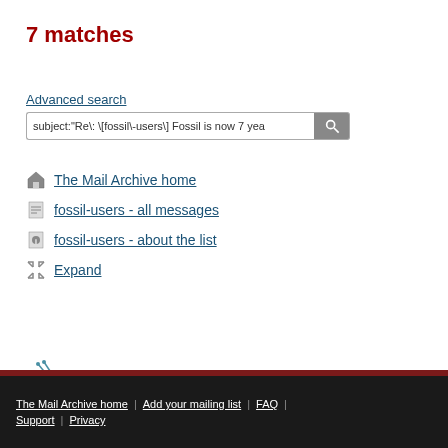7 matches
Advanced search
subject:"Re\: \[fossil\-users\] Fossil is now 7 yea
The Mail Archive home
fossil-users - all messages
fossil-users - about the list
Expand
[Figure (logo): The Mail Archive ant logo - stylized ant illustration in blue/gray]
The Mail Archive home | Add your mailing list | FAQ | Support | Privacy